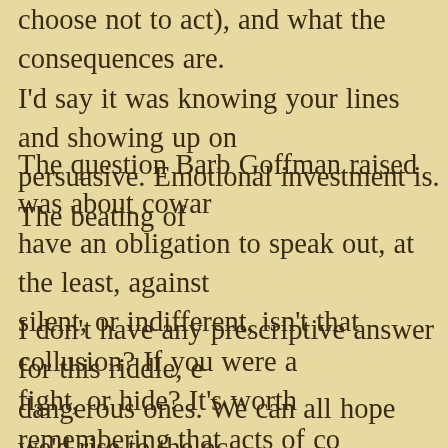choose not to act), and what the consequences are. I'd say it was knowing your lines and showing up on persuasive. Emotional investment is. The beating of
The question Barb Goffman raised was about cowar have an obligation to speak out, at the least, against silent, or indifferent, isn't that collusion? If you were a fight, or hide? It's worth remembering that acts of co today, can cost you your life. We're not just talking ab primitive goons like Boko Haram. The First World ha we're doing it for God, or supposedly.
I don't have any prescriptive answer for this riddle, e dangerous ones. We can all hope we'd rise to the oc test. But we don't really know whether we'd collabora for making our voices heard, I think we owe it to thos silenced. Just this week, a Turkish writer with Germa arrested in Spain on an Interpol warrant issued by th Akbanlils extradition. It's a Whiskey Tango Foxtrot...